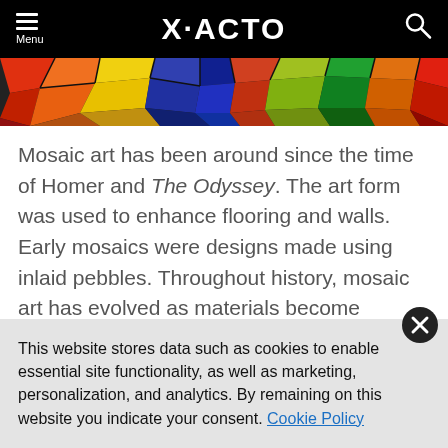X-ACTO
[Figure (photo): Colorful stained glass mosaic strip showing vibrant pieces of red, orange, yellow, green, blue, and purple glass with black leading lines]
Mosaic art has been around since the time of Homer and The Odyssey. The art form was used to enhance flooring and walls. Early mosaics were designs made using inlaid pebbles. Throughout history, mosaic art has evolved as materials become available. Brightly colored stone, glass, ceramic tiles, and gold pieces were later used to create scenes for churches and other buildings.
This website stores data such as cookies to enable essential site functionality, as well as marketing, personalization, and analytics. By remaining on this website you indicate your consent. Cookie Policy